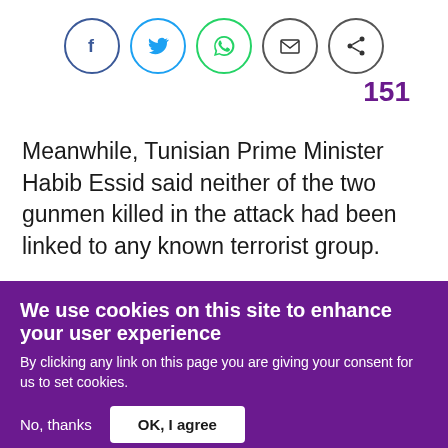[Figure (other): Social sharing icons in circles: Facebook (blue), Twitter (blue), WhatsApp (green), Email (dark), Share (dark)]
151
Meanwhile, Tunisian Prime Minister Habib Essid said neither of the two gunmen killed in the attack had been linked to any known terrorist group.
We use cookies on this site to enhance your user experience
By clicking any link on this page you are giving your consent for us to set cookies.
No, thanks
OK, I agree